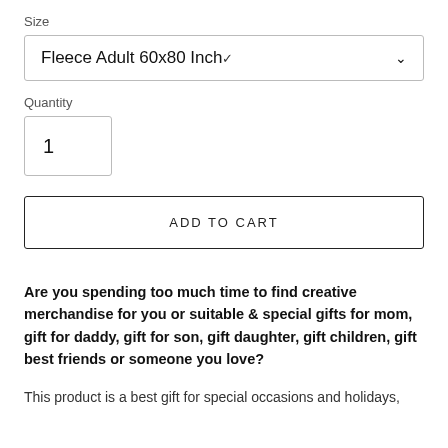Size
Fleece Adult 60x80 Inch
Quantity
1
ADD TO CART
Are you spending too much time to find creative merchandise for you or suitable & special gifts for mom, gift for daddy, gift for son, gift daughter, gift children, gift best friends or someone you love?
This product is a best gift for special occasions and holidays,